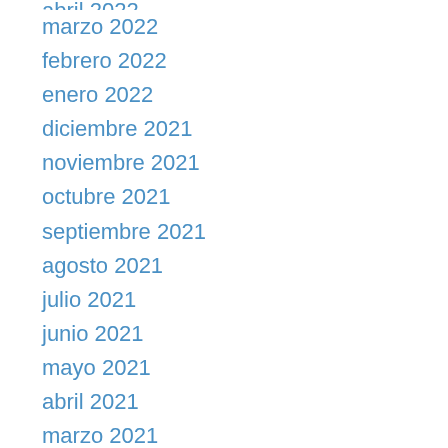abril 2022
marzo 2022
febrero 2022
enero 2022
diciembre 2021
noviembre 2021
octubre 2021
septiembre 2021
agosto 2021
julio 2021
junio 2021
mayo 2021
abril 2021
marzo 2021
febrero 2021